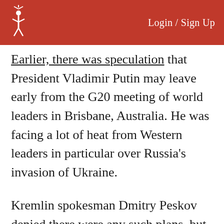Login / Sign Up
Earlier, there was speculation that President Vladimir Putin may leave early from the G20 meeting of world leaders in Brisbane, Australia. He was facing a lot of heat from Western leaders in particular over Russia's invasion of Ukraine.
Kremlin spokesman Dmitry Peskov denied there were any such plans, but in the end, Putin did leave before the end